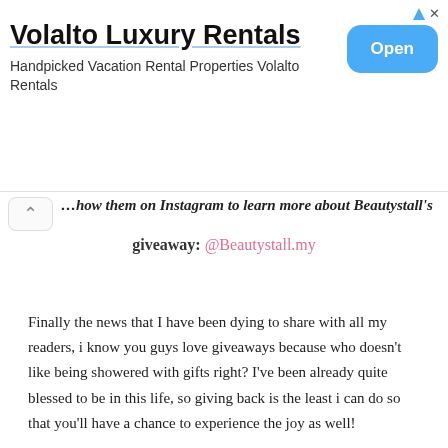[Figure (other): Advertisement banner for Volalto Luxury Rentals with title, subtitle, and Open button]
…how them on Instagram to learn more about Beautystall's giveaway: @Beautystall.my
Finally the news that I have been dying to share with all my readers, i know you guys love giveaways because who doesn't like being showered with gifts right? I've been already quite blessed to be in this life, so giving back is the least i can do so that you'll have a chance to experience the joy as well! Don't worry about postage delays this time as my kind collaborators will be sending out your prizes, all you gotta do is join this Instagram/Facebook contest by SHARING this poster on your timeline with these tags: